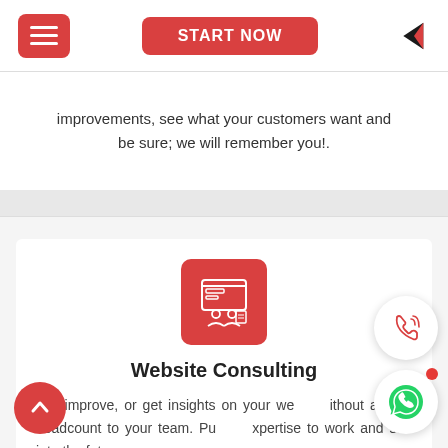Navigation bar with hamburger menu, START NOW button, and logo
improvements, see what your customers want and be sure; we will remember you!.
[Figure (illustration): Red square icon with white line-art depicting a website consulting scene with two people and a monitor]
Website Consulting
Fix, improve, or get insights on your we... ithout adding headcount to your team. Pu... xpertise to work and see into the future more